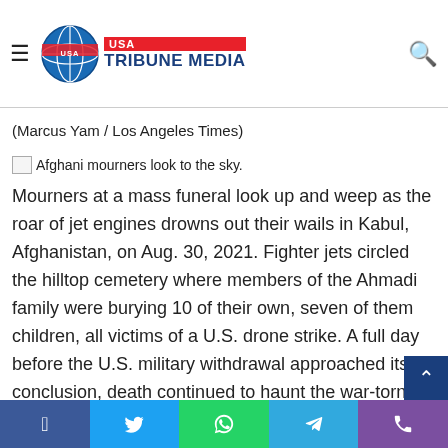USA Tribune Media
earlier in August, more than 120,000 people were airlifted … the largest mass evacuation in U.S. history.
(Marcus Yam / Los Angeles Times)
[Figure (photo): Afghani mourners look to the sky. Alt text placeholder image icon.]
Mourners at a mass funeral look up and weep as the roar of jet engines drowns out their wails in Kabul, Afghanistan, on Aug. 30, 2021. Fighter jets circled the hilltop cemetery where members of the Ahmadi family were burying 10 of their own, seven of them children, all victims of a U.S. drone strike. A full day before the U.S. military withdrawal approached its conclusion, death continued to haunt the war-torn country. The airstrike came in the wake of an airport bombing on Aug. 26 carried out by ISIS-K milita